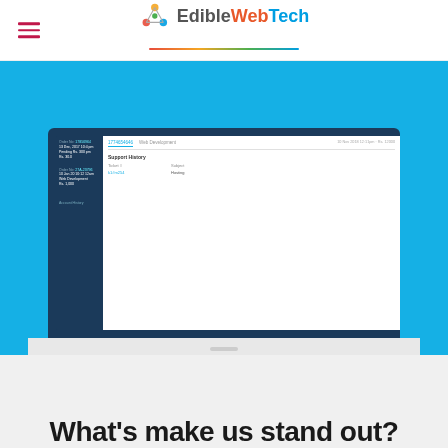[Figure (logo): EdibleWebTech logo with colorful network icon and stylized text 'EdibleWebTech']
[Figure (screenshot): Laptop illustration showing a web dashboard UI with support history table, order details, and sidebar navigation on a blue background]
What's make us stand out?